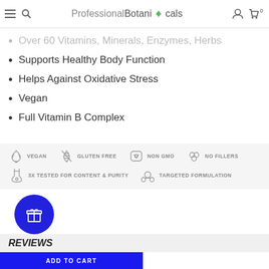Professional Botanicals
Over 60 Vitamins, Minerals, Enzymes, Herbs
Supports Healthy Body Function
Helps Against Oxidative Stress
Vegan
Full Vitamin B Complex
[Figure (infographic): Six certification/quality badges: VEGAN, GLUTEN FREE, NON GMO, NO FILLERS, 3X TESTED FOR CONTENT & PURITY, TARGETED FORMULATION, each with a small icon]
[Figure (illustration): Blue circular reward/gift button with gift box icon]
REVIEWS
ADD TO CART